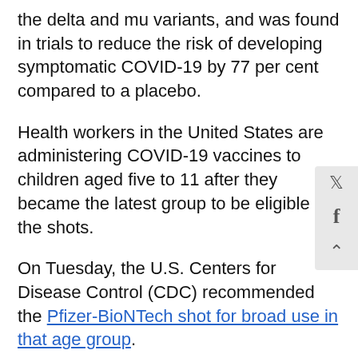the delta and mu variants, and was found in trials to reduce the risk of developing symptomatic COVID-19 by 77 per cent compared to a placebo.
Health workers in the United States are administering COVID-19 vaccines to children aged five to 11 after they became the latest group to be eligible for the shots.
On Tuesday, the U.S. Centers for Disease Control (CDC) recommended the Pfizer-BioNTech shot for broad use in that age group.
Only a limited number of the 15 million shots being distributed now will be available on Wednesday. They expected to be more widely accessible at pediatricia offices, children's hospitals and pharmacies next week.